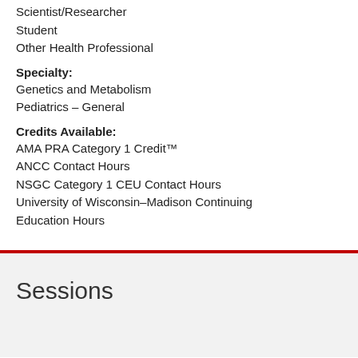Scientist/Researcher
Student
Other Health Professional
Specialty:
Genetics and Metabolism
Pediatrics – General
Credits Available:
AMA PRA Category 1 Credit™
ANCC Contact Hours
NSGC Category 1 CEU Contact Hours
University of Wisconsin–Madison Continuing Education Hours
Sessions